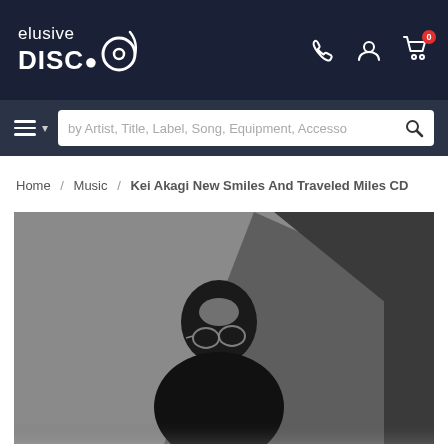elusive DISC● logo with phone, account, and cart icons (badge: 0)
Search bar: by Artist, Title, Label, Song, Equipment, Accesso
Home / Music / Kei Akagi New Smiles And Traveled Miles CD
[Figure (photo): Black and white album cover photo of Kei Akagi, a man wearing glasses and a dark turtleneck, looking downward. Yellow vertical text on the right side reads 'KEI AKAGI'.]